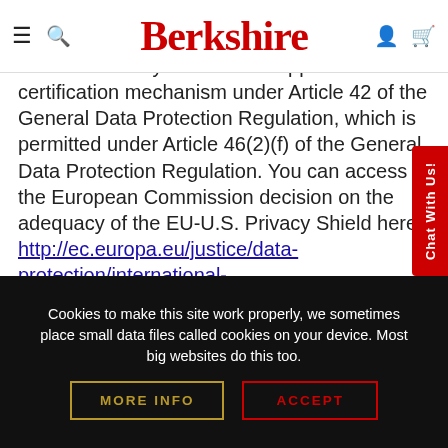Berkshire
compliance with the EU-U.S. Privacy Shield to make available here: https://www.berkshire.co.uk/welcome. The EU-U.S. Privacy Shield is an approved certification mechanism under Article 42 of the General Data Protection Regulation, which is permitted under Article 46(2)(f) of the General Data Protection Regulation. You can access the European Commission decision on the adequacy of the EU-U.S. Privacy Shield here: http://ec.europa.eu/justice/data-protection/international-transfers/adequacy/index_en.htm
Cookies to make this site work properly, we sometimes place small data files called cookies on your device. Most big websites do this too.
MORE INFO
ACCEPT